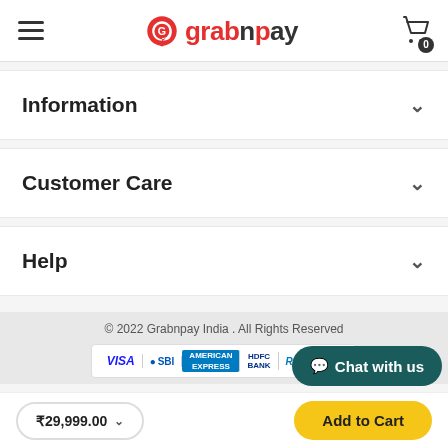[Figure (logo): Grabnpay logo with red G icon and text 'grabnpay']
Information
Customer Care
Help
© 2022 Grabnpay India . All Rights Reserved
[Figure (other): Payment method logos: VISA, SBI, American Express, HDFC Bank, RuPay, Mastercard]
Chat with us
₹29,999.00
Add to Cart